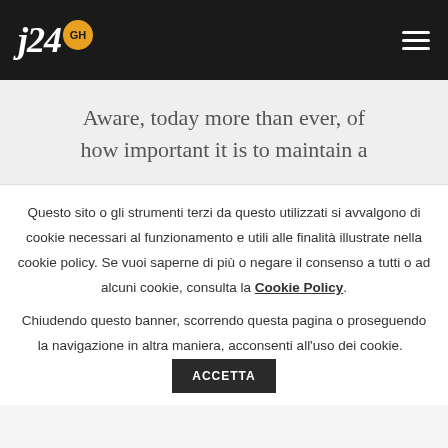j24 GH
Aware, today more than ever, of how important it is to maintain a
Questo sito o gli strumenti terzi da questo utilizzati si avvalgono di cookie necessari al funzionamento e utili alle finalità illustrate nella cookie policy. Se vuoi saperne di più o negare il consenso a tutti o ad alcuni cookie, consulta la Cookie Policy. Chiudendo questo banner, scorrendo questa pagina o proseguendo la navigazione in altra maniera, acconsenti all'uso dei cookie.